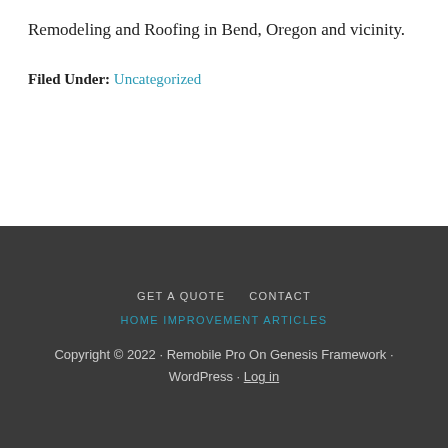Remodeling and Roofing in Bend, Oregon and vicinity.
Filed Under: Uncategorized
GET A QUOTE  CONTACT  HOME IMPROVEMENT ARTICLES  Copyright © 2022 · Remobile Pro On Genesis Framework · WordPress · Log in